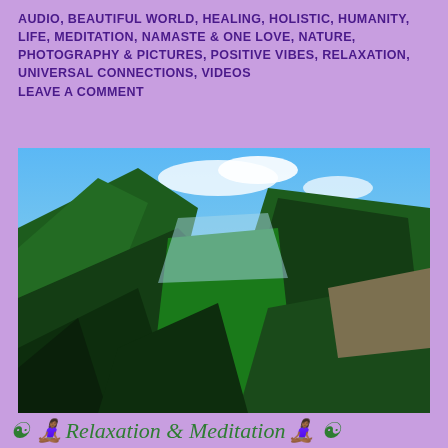AUDIO, BEAUTIFUL WORLD, HEALING, HOLISTIC, HUMANITY, LIFE, MEDITATION, NAMASTE & ONE LOVE, NATURE, PHOTOGRAPHY & PICTURES, POSITIVE VIBES, RELAXATION, UNIVERSAL CONNECTIONS, VIDEOS
LEAVE A COMMENT
[Figure (photo): Aerial view of a lush green mountain valley with forested slopes, rocky cliffs, and blue sky with clouds]
☯ 🧘🏾‍♀️ Relaxation & Meditation 🧘🏾‍♀️ ☯
JUNE 10, 2020